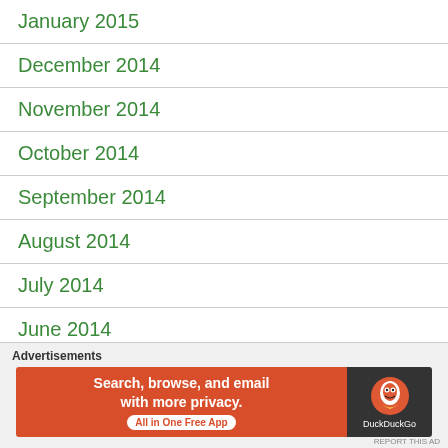January 2015
December 2014
November 2014
October 2014
September 2014
August 2014
July 2014
June 2014
May 2014
April 2014
Advertisements
[Figure (screenshot): DuckDuckGo advertisement banner: Search, browse, and email with more privacy. All in One Free App.]